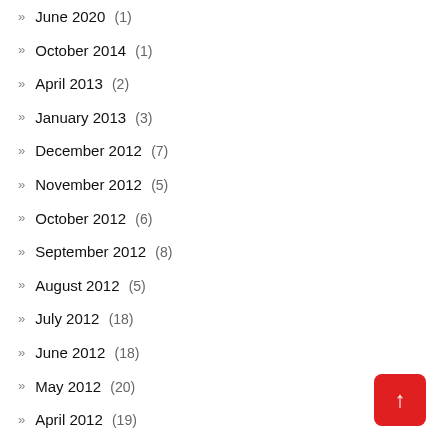June 2020 (1)
October 2014 (1)
April 2013 (2)
January 2013 (3)
December 2012 (7)
November 2012 (5)
October 2012 (6)
September 2012 (8)
August 2012 (5)
July 2012 (18)
June 2012 (18)
May 2012 (20)
April 2012 (19)